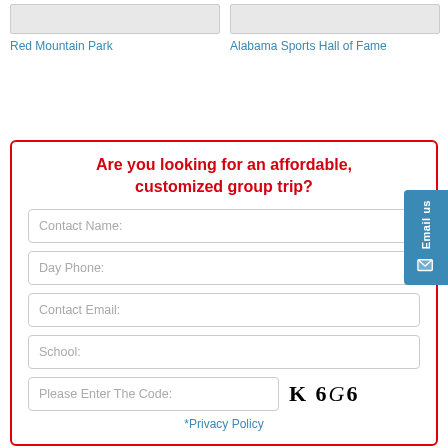Red Mountain Park
Alabama Sports Hall of Fame
Are you looking for an affordable, customized group trip?
Contact Name:
Day Phone:
Contact Email:
School:
Please Enter The Code:
[Figure (other): CAPTCHA code showing K 6 G 6]
*Privacy Policy